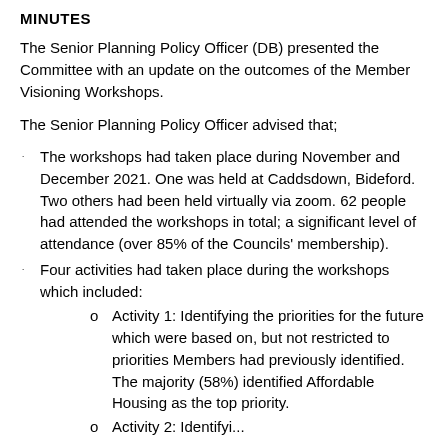MINUTES
The Senior Planning Policy Officer (DB) presented the Committee with an update on the outcomes of the Member Visioning Workshops.
The Senior Planning Policy Officer advised that;
The workshops had taken place during November and December 2021. One was held at Caddsdown, Bideford. Two others had been held virtually via zoom. 62 people had attended the workshops in total; a significant level of attendance (over 85% of the Councils' membership).
Four activities had taken place during the workshops which included:
Activity 1: Identifying the priorities for the future which were based on, but not restricted to priorities Members had previously identified. The majority (58%) identified Affordable Housing as the top priority.
Activity 2: Identifying the priorities...